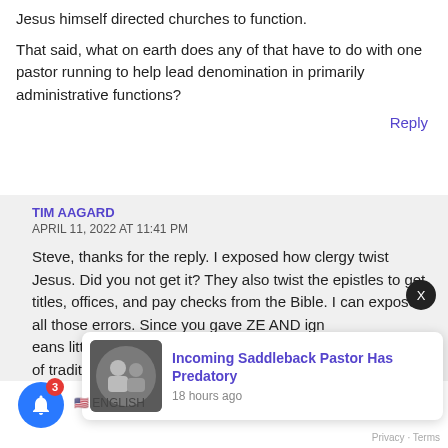Jesus himself directed churches to function.
That said, what on earth does any of that have to do with one pastor running to help lead denomination in primarily administrative functions?
Reply
TIM AAGARD
APRIL 11, 2022 AT 11:41 PM
Steve, thanks for the reply. I exposed how clergy twist Jesus. Did you not get it? They also twist the epistles to get titles, offices, and pay checks from the Bible. I can expose all those errors. Since you gave ZE... AND ign... eans little to you and is FAR below of traditions of men.
[Figure (screenshot): Notification card showing 'Incoming Saddleback Pastor Has Predatory' with thumbnail of two men, posted 18 hours ago. Blue notification bell with badge of 3. Close X button. English flag row. Privacy-Terms link.]